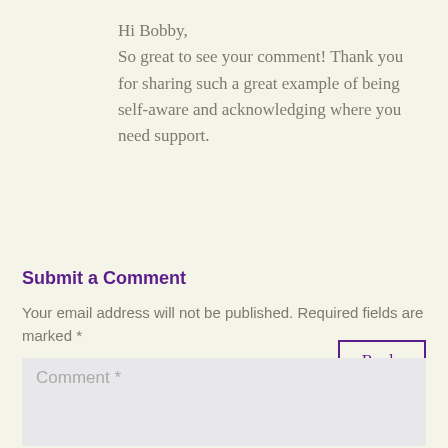Hi Bobby,
So great to see your comment! Thank you for sharing such a great example of being self-aware and acknowledging where you need support.
Reply
Submit a Comment
Your email address will not be published. Required fields are marked *
Comment *